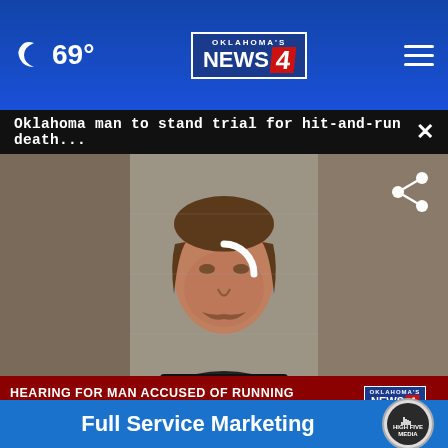69° Oklahoma's News 4
Oklahoma man to stand trial for hit-and-run death...
[Figure (screenshot): Mugshot of a middle-aged man with brown hair and mustache wearing a black shirt, against a gray concrete wall background. A loading spinner arc is overlaid on the center of the image.]
HEARING FOR MAN ACCUSED OF RUNNING OVER STUDENTS
[Figure (screenshot): Partial view of two thumbnail images at bottom: one showing handwritten text (ation of oi) with a play button, another showing a building/dome. A close button (×) is overlaid.]
Full Service Marketing